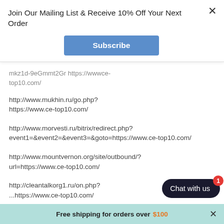Join Our Mailing List & Receive 10% Off Your Next Order
Subscribe
mkz1d-9eGmmt2Gr https://wwwce-top10.com/
http://www.mukhin.ru/go.php?https://www.ce-top10.com/
http://www.morvesti.ru/bitrix/redirect.php?event1=&event2=&event3=&goto=https://www.ce-top10.com/
http://www.mountvernon.org/site/outbound/?url=https://www.ce-top10.com/
http://cleantalkorg1.ru/on.php?...https://www.ce-top10.com/
Chat with us
Free shipping for orders over $100